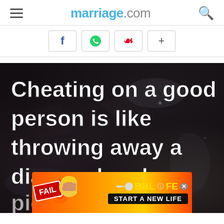marriage.com
[Figure (screenshot): Social share buttons: Facebook (f), WhatsApp (green phone icon), Pinterest (red P), plus (+)]
[Figure (photo): Dark rocky mineral/stone texture background with white bold text overlay reading: 'Cheating on a good person is like throwing away a diamond and picking up a rock'. An ad overlay at bottom from BitLife: 'FAIL - START A NEW LIFE'.]